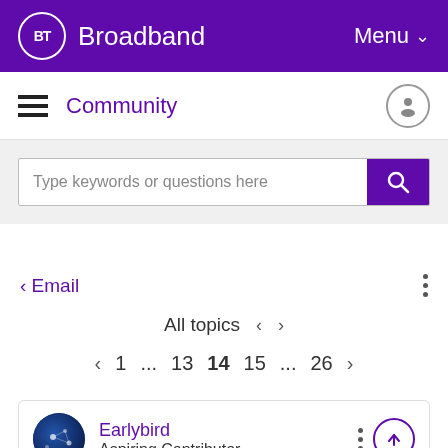BT Broadband  Menu
Community
Type keywords or questions here
< Email
All topics < >
< 1 ... 13 14 15 ... 26 >
Earlybird
Aspiring Contributor